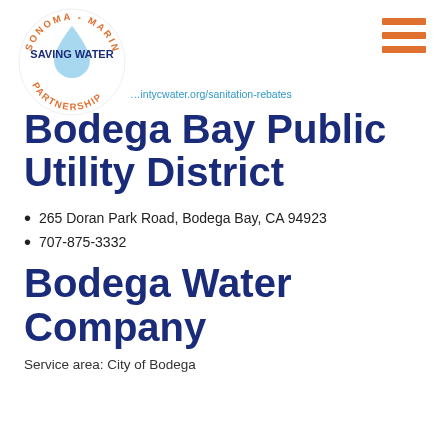[Figure (logo): Sonoma-Marin Saving Water Partnership circular logo with water drop and orange text ring]
countrywater.org/sanitation-rebates
Bodega Bay Public Utility District
265 Doran Park Road, Bodega Bay, CA 94923
707-875-3332
Bodega Water Company
Service area: City of Bodega